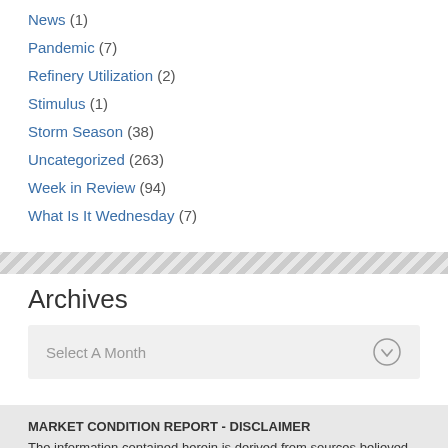News (1)
Pandemic (7)
Refinery Utilization (2)
Stimulus (1)
Storm Season (38)
Uncategorized (263)
Week in Review (94)
What Is It Wednesday (7)
Archives
Select A Month
MARKET CONDITION REPORT - DISCLAIMER
The information contained herein is derived from sources believed to be reliable; however, this information is not guaranteed as to its accuracy or completeness. Furthermore, no responsibility is assumed for use of this material and no express or implied warranties or guarantees are made.